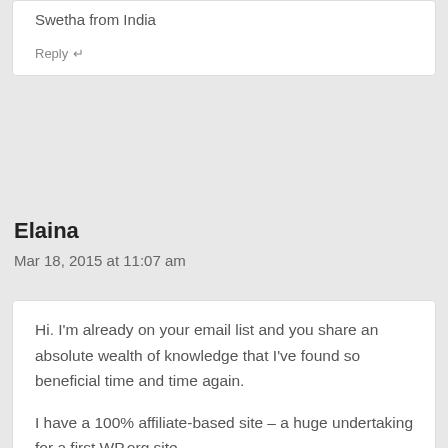Swetha from India
Reply ↵
Elaina
Mar 18, 2015 at 11:07 am
Hi. I'm already on your email list and you share an absolute wealth of knowledge that I've found so beneficial time and time again.

I have a 100% affiliate-based site – a huge undertaking for a first WP.org site…

I installed the WP plugin, Redirection. While I understand the concept/basics of redirects,